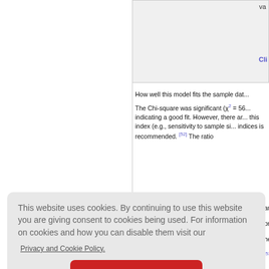[Figure (other): Partial table or figure in top-right area with grey background, showing a value and a blue link text partially visible]
How well this model fits the sample dat...
The Chi-square was significant (χ² = 56... indicating a good fit. However, there are... this index (e.g., sensitivity to sample siz... indices is recommended. [52] The ratio ...
and 3 for ... proximatio... he cutoff v... [53] and be...
The com... onal rule o... mit of 0.95... cerns abo... er aspects... stimates.
This website uses cookies. By continuing to use this website you are giving consent to cookies being used. For information on cookies and how you can disable them visit our
Privacy and Cookie Policy.
AGREE & PROCEED
All standardized path estimates of the f...